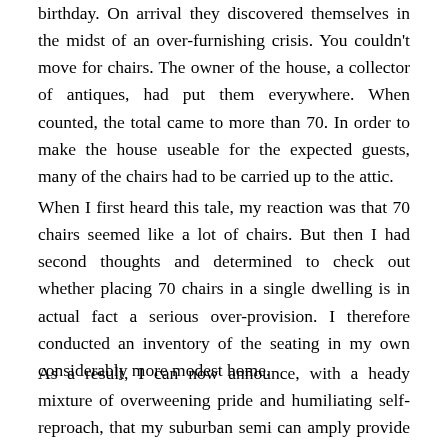birthday. On arrival they discovered themselves in the midst of an over-furnishing crisis. You couldn't move for chairs. The owner of the house, a collector of antiques, had put them everywhere. When counted, the total came to more than 70. In order to make the house useable for the expected guests, many of the chairs had to be carried up to the attic.
When I first heard this tale, my reaction was that 70 chairs seemed like a lot of chairs. But then I had second thoughts and determined to check out whether placing 70 chairs in a single dwelling is in actual fact a serious over-provision. I therefore conducted an inventory of the seating in my own considerably more modest home.
As a result, I can now announce, with a heady mixture of overweening pride and humiliating self-reproach, that my suburban semi can amply provide seating for 78.